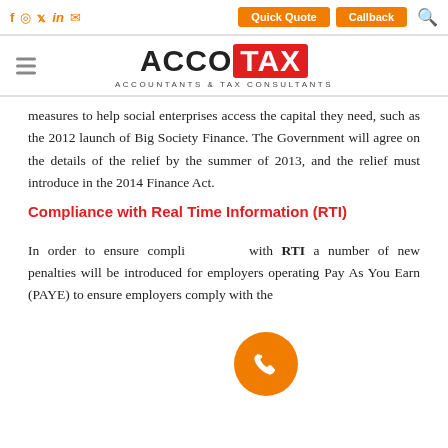f  Instagram  Twitter  in  WhatsApp | Quick Quote | Callback | Search
[Figure (logo): AccoTax logo — ACCO in black bold, TAX in white on red background, subtitle: ACCOUNTANTS & TAX CONSULTANTS]
measures to help social enterprises access the capital they need, such as the 2012 launch of Big Society Finance. The Government will agree on the details of the relief by the summer of 2013, and the relief must introduce in the 2014 Finance Act.
Compliance with Real Time Information (RTI)
In order to ensure compliance with RTI a number of new penalties will be introduced for employers operating Pay As You Earn (PAYE) to ensure employers comply with the